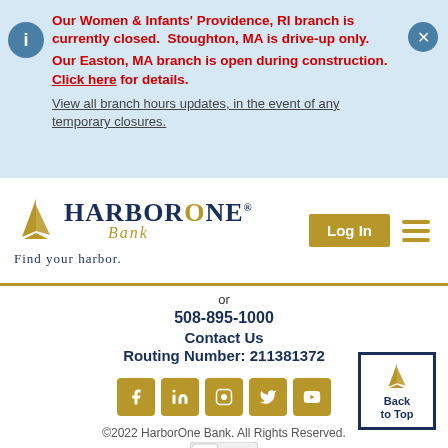Our Women & Infants' Providence, RI branch is currently closed.  Stoughton, MA is drive-up only. Our Easton, MA branch is open during construction.  Click here for details. View all branch hours updates, in the event of any temporary closures.
[Figure (logo): HarborOne Bank logo with sailboat icon, text 'HarborOne Bank', tagline 'Find your harbor.' and Log In button plus hamburger menu]
or
508-895-1000
Contact Us
Routing Number: 211381372
[Figure (other): Social media icons: Facebook, LinkedIn, Instagram, Twitter, YouTube - all in gold/tan square buttons]
©2022 HarborOne Bank. All Rights Reserved.
[Figure (other): Norton security badge]
[Figure (other): Back to Top button with HarborOne sailboat logo icon]